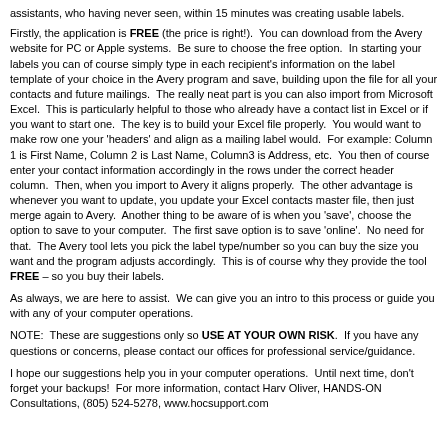assistants, who having never seen, within 15 minutes was creating usable labels.
Firstly, the application is FREE (the price is right!).  You can download from the Avery website for PC or Apple systems.  Be sure to choose the free option.  In starting your labels you can of course simply type in each recipient's information on the label template of your choice in the Avery program and save, building upon the file for all your contacts and future mailings.  The really neat part is you can also import from Microsoft Excel.  This is particularly helpful to those who already have a contact list in Excel or if you want to start one.  The key is to build your Excel file properly.  You would want to make row one your 'headers' and align as a mailing label would.  For example: Column 1 is First Name, Column 2 is Last Name, Column3 is Address, etc.  You then of course enter your contact information accordingly in the rows under the correct header column.  Then, when you import to Avery it aligns properly.  The other advantage is whenever you want to update, you update your Excel contacts master file, then just merge again to Avery.  Another thing to be aware of is when you 'save', choose the option to save to your computer.  The first save option is to save 'online'.  No need for that.  The Avery tool lets you pick the label type/number so you can buy the size you want and the program adjusts accordingly.  This is of course why they provide the tool FREE – so you buy their labels.
As always, we are here to assist.  We can give you an intro to this process or guide you with any of your computer operations.
NOTE:  These are suggestions only so USE AT YOUR OWN RISK.  If you have any questions or concerns, please contact our offices for professional service/guidance.
I hope our suggestions help you in your computer operations.  Until next time, don't forget your backups!  For more information, contact Harv Oliver, HANDS-ON Consultations, (805) 524-5278, www.hocsupport.com